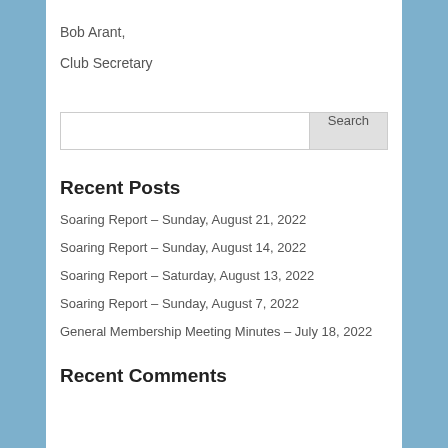Bob Arant,
Club Secretary
[Figure (screenshot): Search input box with Search button]
Recent Posts
Soaring Report – Sunday, August 21, 2022
Soaring Report – Sunday, August 14, 2022
Soaring Report – Saturday, August 13, 2022
Soaring Report – Sunday, August 7, 2022
General Membership Meeting Minutes – July 18, 2022
Recent Comments